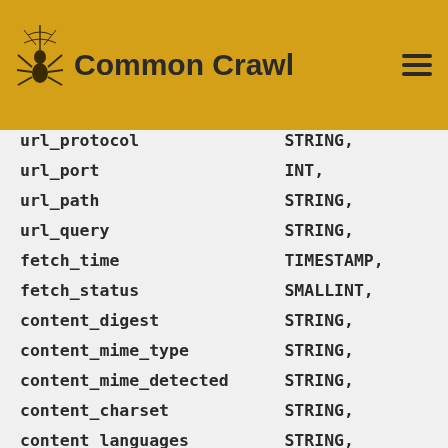Common Crawl
| field | type |
| --- | --- |
| url_protocol | STRING, |
| url_port | INT, |
| url_path | STRING, |
| url_query | STRING, |
| fetch_time | TIMESTAMP, |
| fetch_status | SMALLINT, |
| content_digest | STRING, |
| content_mime_type | STRING, |
| content_mime_detected | STRING, |
| content_charset | STRING, |
| content_languages | STRING, |
| warc_filename | STRING, |
| warc_record_offset | INT, |
| warc_record_length | INT, |
| warc_segment | STRING) |